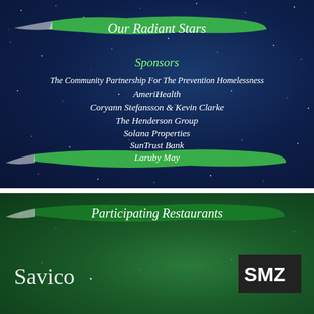Our Radiant Stars
Sponsors
The Community Partnership For The Prevention Homelessness
AmeriHealth
Coryann Stefansson & Kevin Clarke
The Henderson Group
Solana Properties
SunTrust Bank
Laruby May
Participating Restaurants
[Figure (logo): Savico logo text in script font (white) on green background]
[Figure (logo): SMZ or similar logo in dark box on green background]